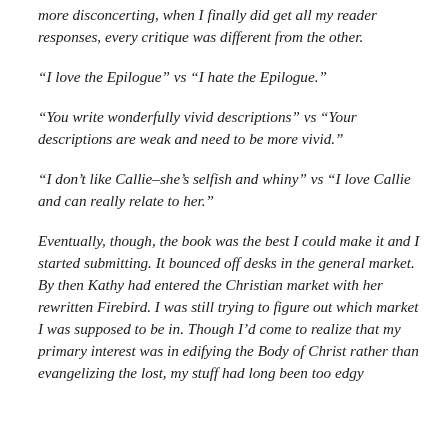more disconcerting, when I finally did get all my reader responses, every critique was different from the other.
“I love the Epilogue” vs “I hate the Epilogue.”
“You write wonderfully vivid descriptions” vs “Your descriptions are weak and need to be more vivid.”
“I don’t like Callie–she’s selfish and whiny” vs “I love Callie and can really relate to her.”
Eventually, though, the book was the best I could make it and I started submitting. It bounced off desks in the general market. By then Kathy had entered the Christian market with her rewritten Firebird. I was still trying to figure out which market I was supposed to be in. Though I’d come to realize that my primary interest was in edifying the Body of Christ rather than evangelizing the lost, my stuff had long been too edgy